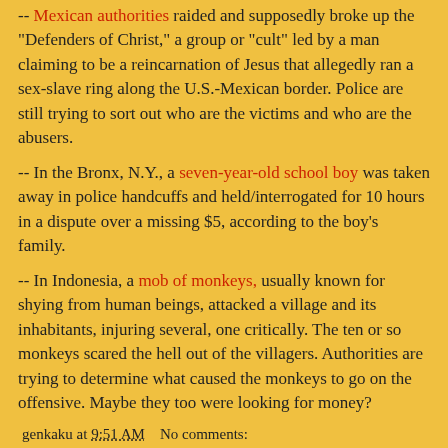-- Mexican authorities raided and supposedly broke up the "Defenders of Christ," a group or "cult" led by a man claiming to be a reincarnation of Jesus that allegedly ran a sex-slave ring along the U.S.-Mexican border. Police are still trying to sort out who are the victims and who are the abusers.
-- In the Bronx, N.Y., a seven-year-old school boy was taken away in police handcuffs and held/interrogated for 10 hours in a dispute over a missing $5, according to the boy's family.
-- In Indonesia, a mob of monkeys, usually known for shying from human beings, attacked a village and its inhabitants, injuring several, one critically. The ten or so monkeys scared the hell out of the villagers. Authorities are trying to determine what caused the monkeys to go on the offensive. Maybe they too were looking for money?
genkaku at 9:51 AM   No comments:
snow shovel on the porch